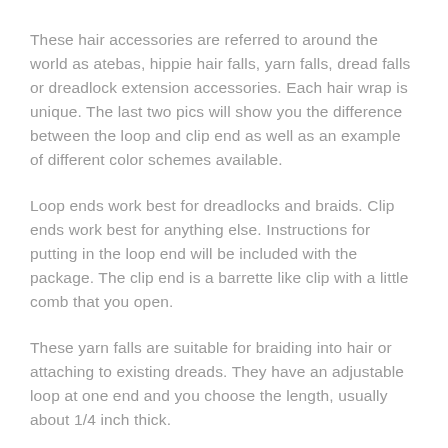These hair accessories are referred to around the world as atebas, hippie hair falls, yarn falls, dread falls or dreadlock extension accessories. Each hair wrap is unique. The last two pics will show you the difference between the loop and clip end as well as an example of different color schemes available.
Loop ends work best for dreadlocks and braids. Clip ends work best for anything else. Instructions for putting in the loop end will be included with the package. The clip end is a barrette like clip with a little comb that you open.
These yarn falls are suitable for braiding into hair or attaching to existing dreads. They have an adjustable loop at one end and you choose the length, usually about 1/4 inch thick.